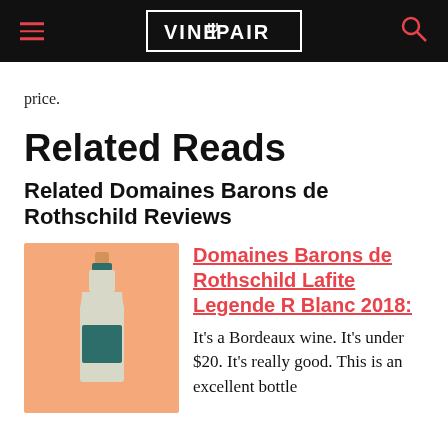VINEPAIR
price.
Related Reads
Related Domaines Barons de Rothschild Reviews
[Figure (illustration): Illustration of a wine bottle on an orange/peach background with a teal label and cork]
Domaines Barons de Rothschild Lafite Legende R Blanc 2018: It's a Bordeaux wine. It's under $20. It's really good. This is an excellent bottle